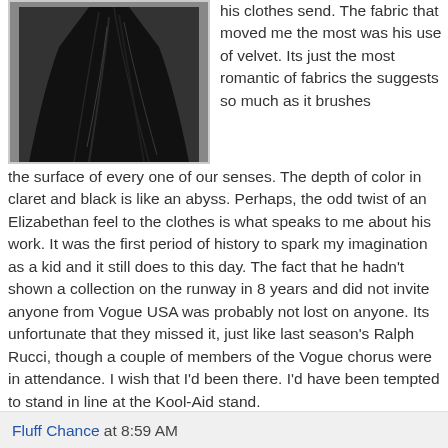[Figure (photo): Black velvet dress or skirt, flowing fabric, shown against white background]
his clothes send. The fabric that moved me the most was his use of velvet. Its just the most romantic of fabrics the suggests so much as it brushes the surface of every one of our senses. The depth of color in claret and black is like an abyss. Perhaps, the odd twist of an Elizabethan feel to the clothes is what speaks to me about his work. It was the first period of history to spark my imagination as a kid and it still does to this day. The fact that he hadn't shown a collection on the runway in 8 years and did not invite anyone from Vogue USA was probably not lost on anyone. Its unfortunate that they missed it, just like last season's Ralph Rucci, though a couple of members of the Vogue chorus were in attendance. I wish that I'd been there. I'd have been tempted to stand in line at the Kool-Aid stand.
photos courtesy of tenmagazine. special thanks to Beth Terry!
Fluff Chance at 8:59 AM